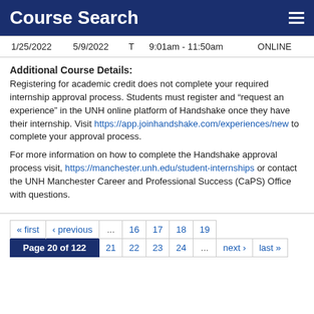Course Search
| 1/25/2022 | 5/9/2022 | T | 9:01am - 11:50am | ONLINE |
Additional Course Details:
Registering for academic credit does not complete your required internship approval process. Students must register and “request an experience” in the UNH online platform of Handshake once they have their internship. Visit https://app.joinhandshake.com/experiences/new to complete your approval process.
For more information on how to complete the Handshake approval process visit, https://manchester.unh.edu/student-internships or contact the UNH Manchester Career and Professional Success (CaPS) Office with questions.
| « first | ‹ previous | ... | 16 | 17 | 18 | 19 |
| Page 20 of 122 | 21 | 22 | 23 | 24 | ... | next › | last » |